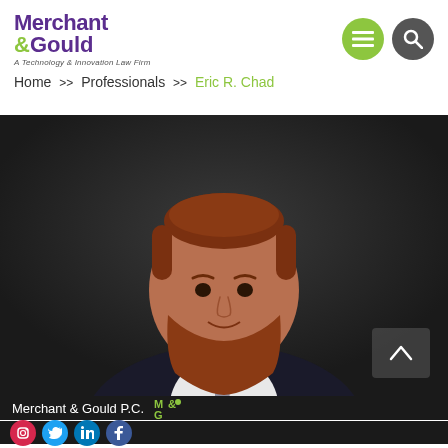[Figure (logo): Merchant & Gould law firm logo with purple and green text and tagline 'A Technology & Innovation Law Firm']
Home >> Professionals >> Eric R. Chad
[Figure (photo): Professional headshot of Eric R. Chad, a man with red hair and beard wearing a dark suit and tie, against a dark grey background]
Merchant & Gould P.C. [M&G logo] [Instagram] [Twitter] [LinkedIn] [Facebook]